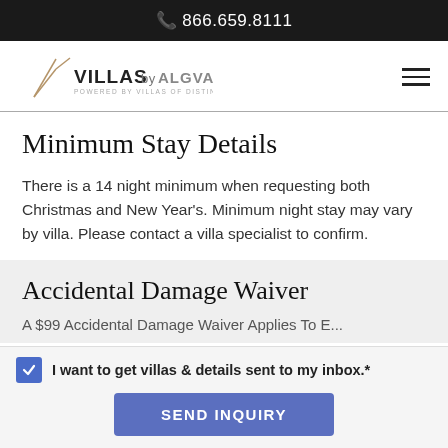📞 866.659.8111
[Figure (logo): Villas by ALG Vacations logo — stylized V checkmark with text 'VILLAS by ALGVACATIONS, POWERED BY VILLAS OF DISTINCTION']
Minimum Stay Details
There is a 14 night minimum when requesting both Christmas and New Year's. Minimum night stay may vary by villa. Please contact a villa specialist to confirm.
Accidental Damage Waiver
A $99 Accidental Damage Waiver Applies To E...
I want to get villas & details sent to my inbox.*